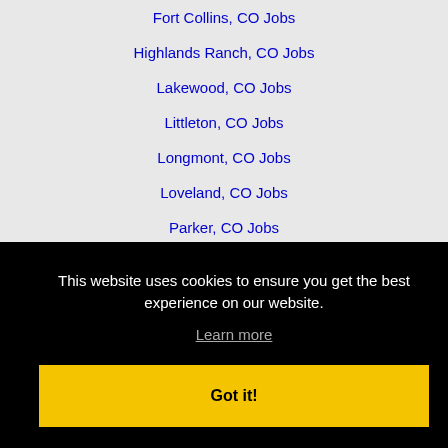Fort Collins, CO Jobs
Highlands Ranch, CO Jobs
Lakewood, CO Jobs
Littleton, CO Jobs
Longmont, CO Jobs
Loveland, CO Jobs
Parker, CO Jobs
Southglenn, CO Jobs
Thornton, CO Jobs
Westminster, CO Jobs
This website uses cookies to ensure you get the best experience on our website.
Learn more
Got it!
Greeley, CO Jobs